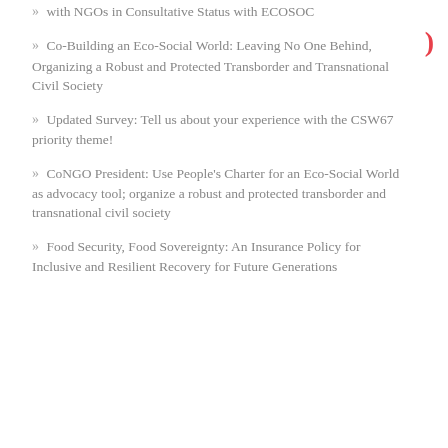» with NGOs in Consultative Status with ECOSOC
» Co-Building an Eco-Social World: Leaving No One Behind, Organizing a Robust and Protected Transborder and Transnational Civil Society
» Updated Survey: Tell us about your experience with the CSW67 priority theme!
» CoNGO President: Use People's Charter for an Eco-Social World as advocacy tool; organize a robust and protected transborder and transnational civil society
» Food Security, Food Sovereignty: An Insurance Policy for Inclusive and Resilient Recovery for Future Generations